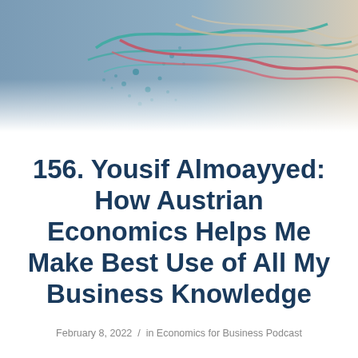[Figure (illustration): Abstract header graphic with gradient background (blue-grey on left, warm beige on right) and colorful intertwining curved lines and dots in teal, red/pink, and beige colors representing connected knowledge or networks.]
156. Yousif Almoayyed: How Austrian Economics Helps Me Make Best Use of All My Business Knowledge
February 8, 2022 / in Economics for Business Podcast